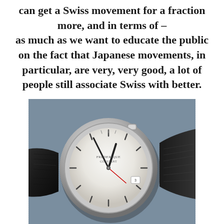can get a Swiss movement for a fraction more, and in terms of – as much as we want to educate the public on the fact that Japanese movements, in particular, are very, very good, a lot of people still associate Swiss with better.
[Figure (photo): A close-up photograph of a wristwatch with a silver/white dial on a black leather strap, resting on a blue-grey textured fabric background. The watch face shows hour markers and hands.]